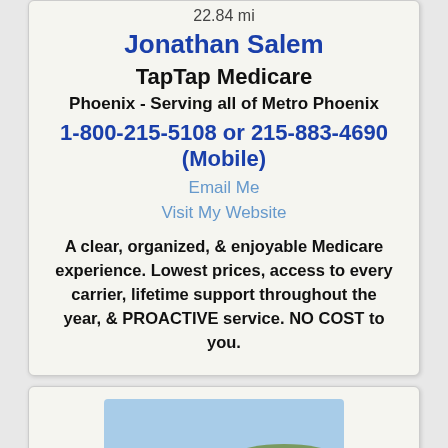22.84 mi
Jonathan Salem
TapTap Medicare
Phoenix - Serving all of Metro Phoenix
1-800-215-5108 or 215-883-4690 (Mobile)
Email Me
Visit My Website
A clear, organized, & enjoyable Medicare experience. Lowest prices, access to every carrier, lifetime support throughout the year, & PROACTIVE service. NO COST to you.
[Figure (photo): Portrait photo of René Apack, older gentleman with gray hair, wearing a suit and tie, smiling outdoors with green landscape in background]
23.3 mi
René Apack